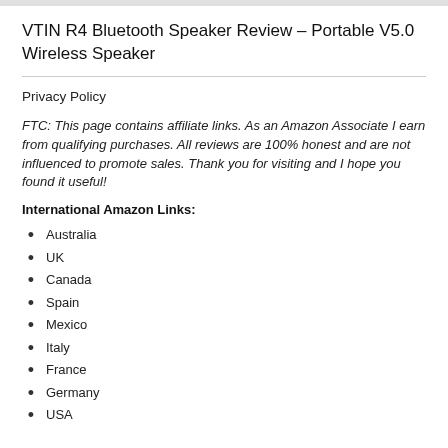VTIN R4 Bluetooth Speaker Review – Portable V5.0 Wireless Speaker
Privacy Policy
FTC: This page contains affiliate links. As an Amazon Associate I earn from qualifying purchases. All reviews are 100% honest and are not influenced to promote sales. Thank you for visiting and I hope you found it useful!
International Amazon Links:
Australia
UK
Canada
Spain
Mexico
Italy
France
Germany
USA